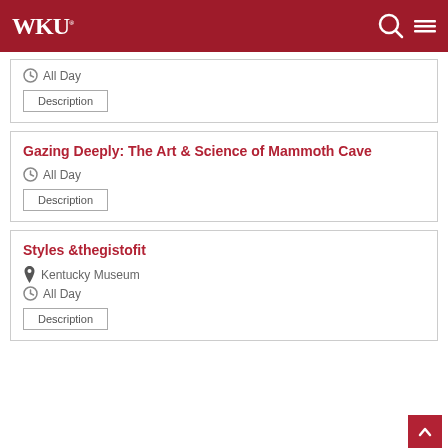WKU
All Day
Description
Gazing Deeply: The Art & Science of Mammoth Cave
All Day
Description
Styles &thegistofit
Kentucky Museum
All Day
Description